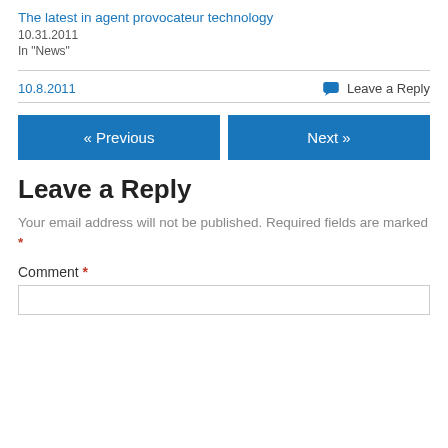The latest in agent provocateur technology
10.31.2011
In "News"
10.8.2011
Leave a Reply
« Previous
Next »
Leave a Reply
Your email address will not be published. Required fields are marked *
Comment *